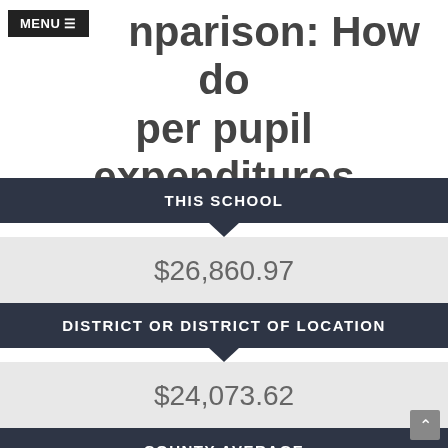MENU ≡
…nparison: How do per pupil expenditures compare?
THIS SCHOOL
$26,860.97
DISTRICT OR DISTRICT OF LOCATION
$24,073.62
COUNTY AVERAGE